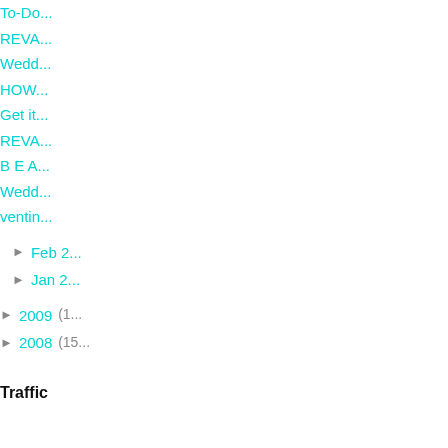To-Do...
REVA...
Wedd...
HOW...
Get it...
REVA...
B E A...
Wedd...
ventin...
Feb 2...
Jan 2...
2009 (1...)
2008 (15...)
Traffic